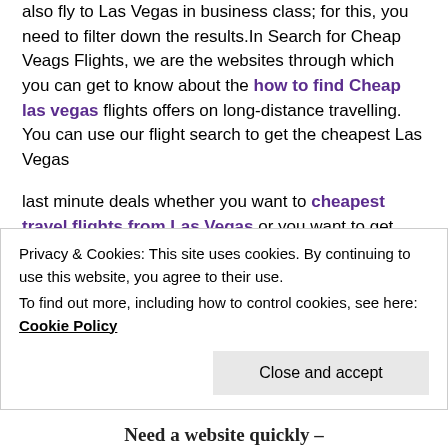also fly to Las Vegas in business class; for this, you need to filter down the results. In Search for Cheap Veags Flights, we are the websites through which you can get to know about the how to find Cheap las vegas flights offers on long-distance travelling. You can use our flight search to get the cheapest Las Vegas
last minute deals whether you want to cheapest travel flights from Las Vegas or you want to get some information to travel to a place away from Las Vegas Cheapest Flights 24 help you to Find Cheap Flights
Privacy & Cookies: This site uses cookies. By continuing to use this website, you agree to their use.
To find out more, including how to control cookies, see here: Cookie Policy
[Close and accept]
Need a website quickly –